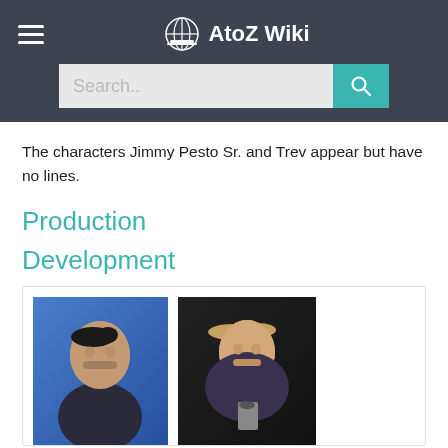AtoZ Wiki
The characters Jimmy Pesto Sr. and Trev appear but have no lines.
Production
Development
[Figure (photo): Two photos side by side: a man with dark hair and beard smiling against a blue background, and a man with lighter hair smiling at a microphone against a dark background.]